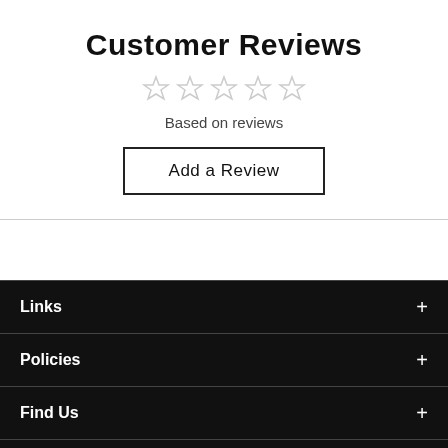Customer Reviews
[Figure (other): Five empty star rating icons]
Based on reviews
Add a Review
Links
Policies
Find Us
[Figure (other): Social media icons: Facebook, Instagram, Twitter, YouTube, and accessibility button]